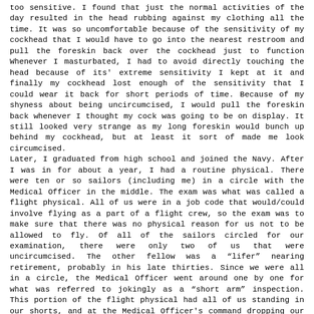too sensitive. I found that just the normal activities of the day resulted in the head rubbing against my clothing all the time. It was so uncomfortable because of the sensitivity of my cockhead that I would have to go into the nearest restroom and pull the foreskin back over the cockhead just to function Whenever I masturbated, I had to avoid directly touching the head because of its' extreme sensitivity I kept at it and finally my cockhead lost enough of the sensitivity that I could wear it back for short periods of time. Because of my shyness about being uncircumcised, I would pull the foreskin back whenever I thought my cock was going to be on display. It still looked very strange as my long foreskin would bunch up behind my cockhead, but at least it sort of made me look circumcised.
Later, I graduated from high school and joined the Navy. After I was in for about a year, I had a routine physical. There were ten or so sailors (including me) in a circle with the Medical Officer in the middle. The exam was what was called a flight physical. All of us were in a job code that would/could involve flying as a part of a flight crew, so the exam was to make sure that there was no physical reason for us not to be allowed to fly. Of all of the sailors circled for our examination, there were only two of us that were uncircumcised. The other fellow was a “lifer” nearing retirement, probably in his late thirties. Since we were all in a circle, the Medical Officer went around one by one for what was referred to jokingly as a “short arm” inspection. This portion of the flight physical had all of us standing in our shorts, and at the Medical Officer's command dropping our drawers. It was at this point that all of us had everything hanging out for inspection. The officer went from one of us to the next, first having each sailor turn around and bend over for a rectal exam. Then he had each of us turn around to have our dicks looked at. The first sailor he looked at was the older “lifer”, who was the only other uncut sailor besides me. Much to the amusement of the Medical Officer (and all the rest of us), this fellow had a long foreskin and on the part covering his cockhead, he had a fly (house fly) tattooed on it. When the officer came to me he took a long look at my dick with its' long foreskin. He retracted my foreskin, and because of my tightness, the foreskin